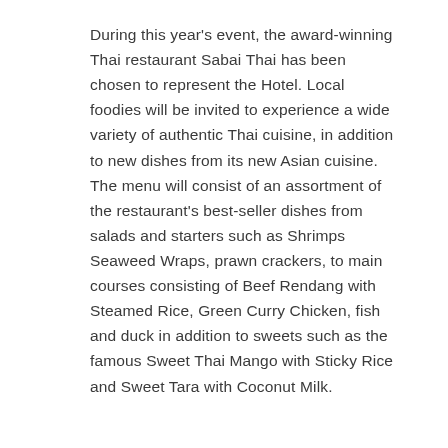During this year's event, the award-winning Thai restaurant Sabai Thai has been chosen to represent the Hotel. Local foodies will be invited to experience a wide variety of authentic Thai cuisine, in addition to new dishes from its new Asian cuisine. The menu will consist of an assortment of the restaurant's best-seller dishes from salads and starters such as Shrimps Seaweed Wraps, prawn crackers, to main courses consisting of Beef Rendang with Steamed Rice, Green Curry Chicken, fish and duck in addition to sweets such as the famous Sweet Thai Mango with Sticky Rice and Sweet Tara with Coconut Milk.